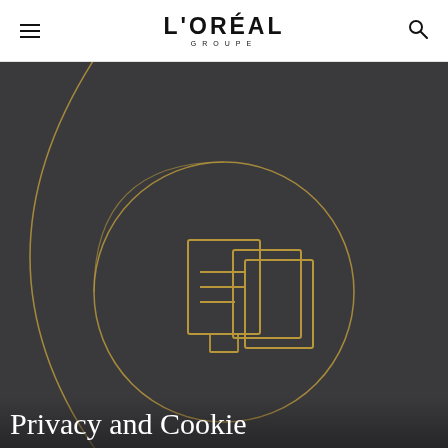L'ORÉAL GROUPE
[Figure (illustration): Dark grey background with gold decorative spiral/circular lines and a gold icon of stacked documents/pages in the center]
Privacy and Cookie